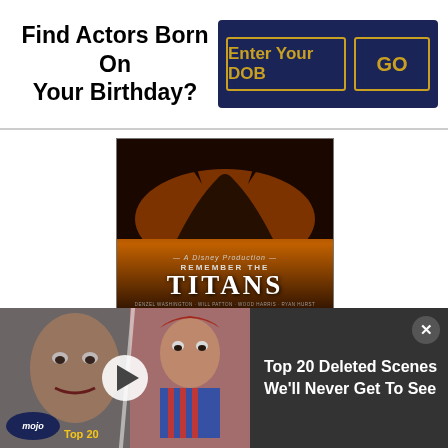Find Actors Born On Your Birthday?
Enter Your DOB
GO
[Figure (photo): Movie poster for Remember the Titans showing silhouettes against orange/dark background with film title]
PG
[Figure (other): Thumbs up icon with count 24 and thumbs down icon with count 2]
The movie depicts the inspirational story of African-American coach Herman Boone and his assistant coach
[Figure (screenshot): Bottom video banner showing WatchMojo Top 20 Deleted Scenes We'll Never Get To See, with horror movie character thumbnails (Jack Nicholson from The Shining, Chucky doll)]